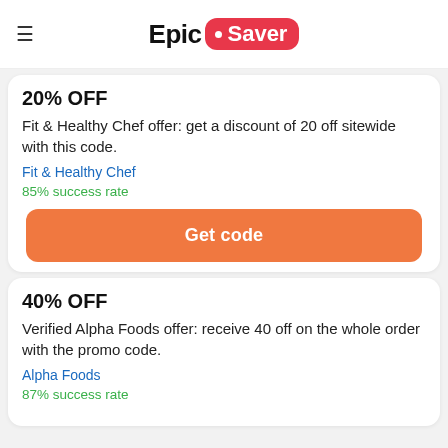Epic Saver
20% OFF
Fit & Healthy Chef offer: get a discount of 20 off sitewide with this code.
Fit & Healthy Chef
85% success rate
Get code
40% OFF
Verified Alpha Foods offer: receive 40 off on the whole order with the promo code.
Alpha Foods
87% success rate